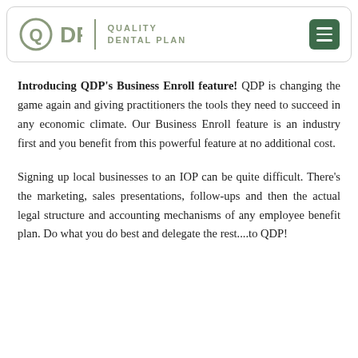QDP | QUALITY DENTAL PLAN
Introducing QDP’s Business Enroll feature! QDP is changing the game again and giving practitioners the tools they need to succeed in any economic climate. Our Business Enroll feature is an industry first and you benefit from this powerful feature at no additional cost.
Signing up local businesses to an IOP can be quite difficult. There’s the marketing, sales presentations, follow-ups and then the actual legal structure and accounting mechanisms of any employee benefit plan. Do what you do best and delegate the rest....to QDP!